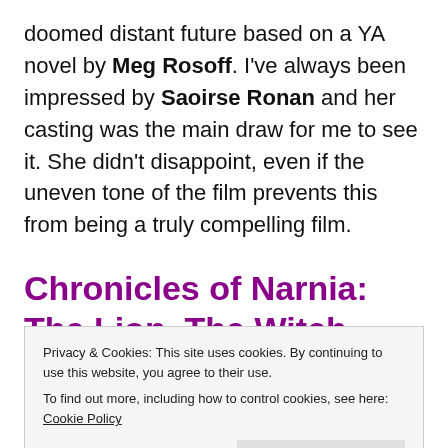doomed distant future based on a YA novel by Meg Rosoff. I've always been impressed by Saoirse Ronan and her casting was the main draw for me to see it. She didn't disappoint, even if the uneven tone of the film prevents this from being a truly compelling film.
Chronicles of Narnia: The Lion, The Witch, and the
Privacy & Cookies: This site uses cookies. By continuing to use this website, you agree to their use.
To find out more, including how to control cookies, see here: Cookie Policy
Close and accept